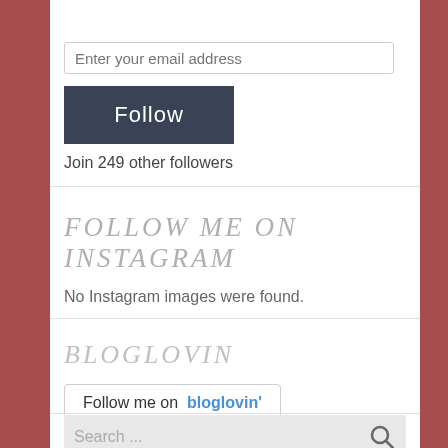Enter your email address
Follow
Join 249 other followers
FOLLOW ME ON INSTAGRAM
No Instagram images were found.
BLOGLOVIN
Follow me on bloglovin'
Search ...